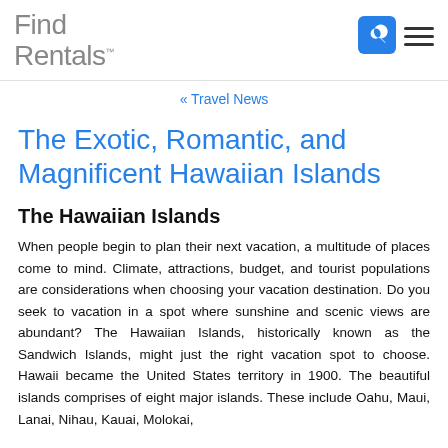Find Rentals™
« Travel News
The Exotic, Romantic, and Magnificent Hawaiian Islands
The Hawaiian Islands
When people begin to plan their next vacation, a multitude of places come to mind. Climate, attractions, budget, and tourist populations are considerations when choosing your vacation destination. Do you seek to vacation in a spot where sunshine and scenic views are abundant? The Hawaiian Islands, historically known as the Sandwich Islands, might just the right vacation spot to choose. Hawaii became the United States territory in 1900. The beautiful islands comprises of eight major islands. These include Oahu, Maui, Lanai, Nihau, Kauai, Molokai,